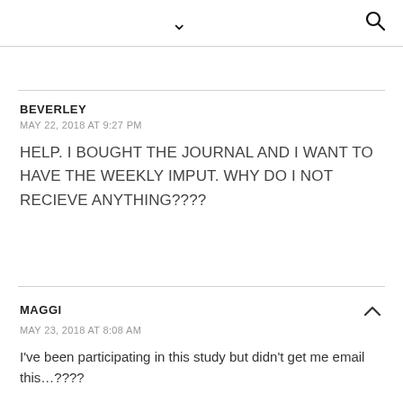▾  🔍
BEVERLEY
MAY 22, 2018 AT 9:27 PM
HELP. I BOUGHT THE JOURNAL AND I WANT TO HAVE THE WEEKLY IMPUT. WHY DO I NOT RECIEVE ANYTHING????
MAGGI
MAY 23, 2018 AT 8:08 AM
I've been participating in this study but didn't get me email this…????